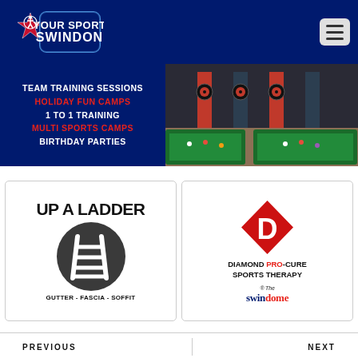[Figure (logo): Your Sport Swindon logo with star graphic on dark blue header bar]
[Figure (infographic): Blue banner listing: TEAM TRAINING SESSIONS, HOLIDAY FUN CAMPS, 1 TO 1 TRAINING, MULTI SPORTS CAMPS, BIRTHDAY PARTIES]
[Figure (photo): Indoor sports facility with dart boards and snooker/pool tables]
[Figure (logo): Up A Ladder logo with ladder icon, text: UP A LADDER, GUTTER - FASCIA - SOFFIT]
[Figure (logo): Diamond Pro-Cure Sports Therapy logo with red diamond D, text at The Swindome]
PREVIOUS
NEXT